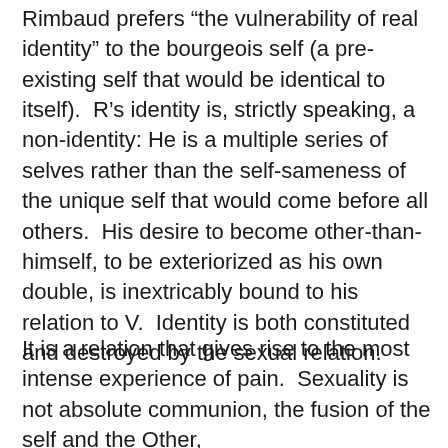Rimbaud prefers “the vulnerability of real identity” to the bourgeois self (a pre-existing self that would be identical to itself).  R’s identity is, strictly speaking, a non-identity: He is a multiple series of selves rather than the self-sameness of the unique self that would come before all others.  His desire to become other-than-himself, to be exteriorized as his own double, is inextricably bound to his relation to V.  Identity is both constituted and destroyed by the sexual relation.
It is a relation that gives rise to the most intense experience of pain.  Sexuality is not absolute communion, the fusion of the self and the Other,